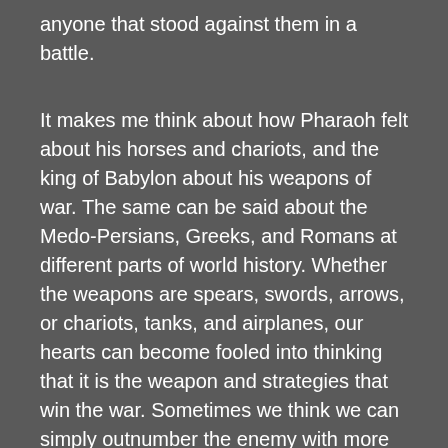anyone that stood against them in a battle.
It makes me think about how Pharaoh felt about his horses and chariots, and the king of Babylon about his weapons of war. The same can be said about the Medo-Persians, Greeks, and Romans at different parts of world history. Whether the weapons are spears, swords, arrows, or chariots, tanks, and airplanes, our hearts can become fooled into thinking that it is the weapon and strategies that win the war. Sometimes we think we can simply outnumber the enemy with more soldiers, more money, more missiles, and more technologies. This is heady stuff and it can divert the attention of a nation away from their inherent weakness and need for God.
In Psalm 33, the unnamed psalmist recognized this prideful blindspot and seeks to refocus the attention of